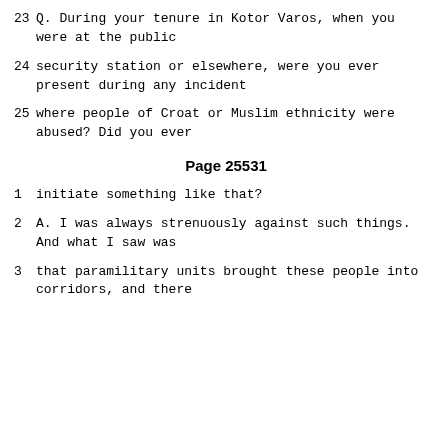23    Q.   During your tenure in Kotor Varos, when you were at the public
24    security station or elsewhere, were you ever present during any incident
25    where people of Croat or Muslim ethnicity were abused?  Did you ever
Page 25531
1     initiate something like that?
2     A.   I was always strenuously against such things.  And what I saw was
3     that paramilitary units brought these people into corridors, and there